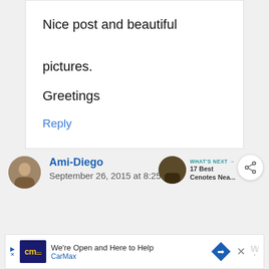Nice post and beautiful pictures.

Greetings
Reply
Ami-Diego
September 26, 2015 at 8:25 am
WHAT'S NEXT → 17 Best Cenotes Nea...
We're Open and Here to Help CarMax